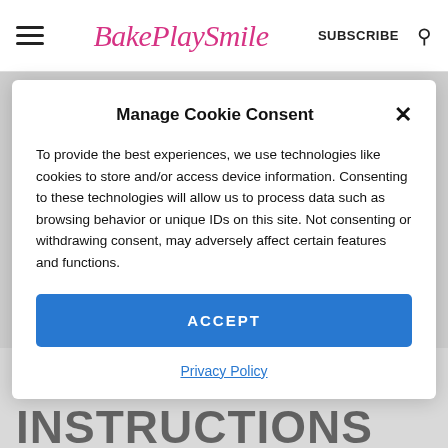BakePlaySmile  SUBSCRIBE
Manage Cookie Consent
To provide the best experiences, we use technologies like cookies to store and/or access device information. Consenting to these technologies will allow us to process data such as browsing behavior or unique IDs on this site. Not consenting or withdrawing consent, may adversely affect certain features and functions.
ACCEPT
Privacy Policy
STEP BY STEP INSTRUCTIONS